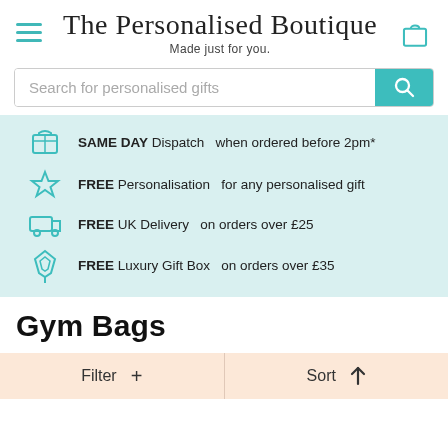The Personalised Boutique — Made just for you.
Search for personalised gifts
SAME DAY Dispatch  when ordered before 2pm*
FREE Personalisation  for any personalised gift
FREE UK Delivery  on orders over £25
FREE Luxury Gift Box  on orders over £35
Gym Bags
Filter + Sort ↑